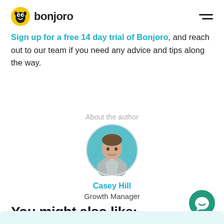bonjoro
Sign up for a free 14 day trial of Bonjoro, and reach out to our team if you need any advice and tips along the way.
About the author
[Figure (photo): Circular profile photo of Casey Hill, a man in a grey t-shirt against a teal background]
Casey Hill
Growth Manager
You might also like: